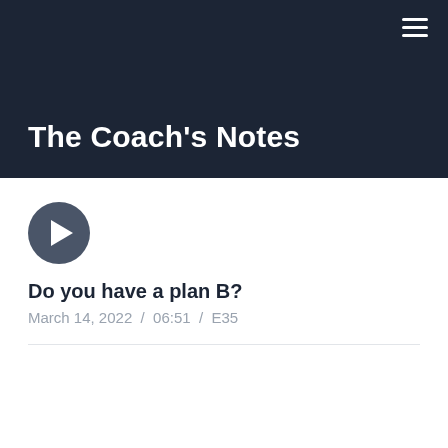The Coach's Notes
[Figure (other): Circular play button icon with dark gray background and white triangle]
Do you have a plan B?
March 14, 2022 / 06:51 / E35